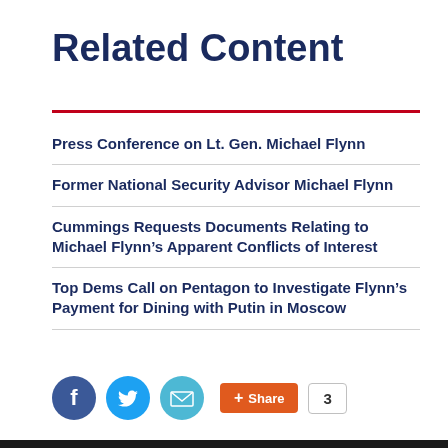Related Content
Press Conference on Lt. Gen. Michael Flynn
Former National Security Advisor Michael Flynn
Cummings Requests Documents Relating to Michael Flynn’s Apparent Conflicts of Interest
Top Dems Call on Pentagon to Investigate Flynn’s Payment for Dining with Putin in Moscow
[Figure (infographic): Social share buttons: Facebook icon, Twitter icon, Email icon, Share button with plus sign, count box showing 3]